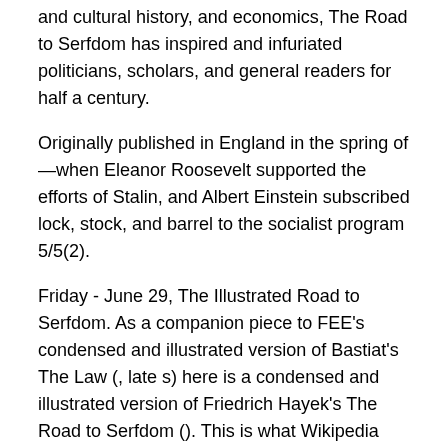and cultural history, and economics, The Road to Serfdom has inspired and infuriated politicians, scholars, and general readers for half a century.
Originally published in England in the spring of —when Eleanor Roosevelt supported the efforts of Stalin, and Albert Einstein subscribed lock, stock, and barrel to the socialist program 5/5(2).
Friday - June 29, The Illustrated Road to Serfdom. As a companion piece to FEE's condensed and illustrated version of Bastiat's The Law (, late s) here is a condensed and illustrated version of Friedrich Hayek's The Road to Serfdom (). This is what Wikipedia has to say about this version: "A condensed version of the book written by Max Eastman was then published as the lead.
Jun 08,  · The Road to Serfdom as a Comic Book. Hayek's classic The Road to Serfdom in comic-book format.
Background: The book was originally published in A condensed version of the book written by Max Eastman was then published as the lead article in the April issue of Reader's Digest, with a press run